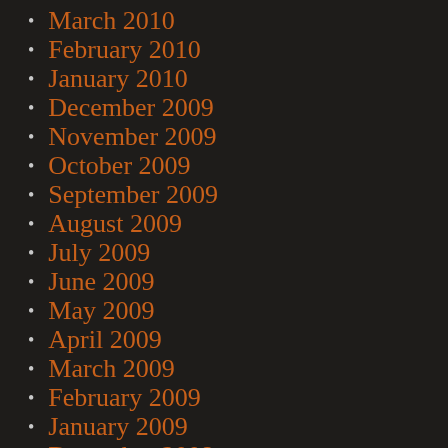March 2010
February 2010
January 2010
December 2009
November 2009
October 2009
September 2009
August 2009
July 2009
June 2009
May 2009
April 2009
March 2009
February 2009
January 2009
December 2008
November 2008